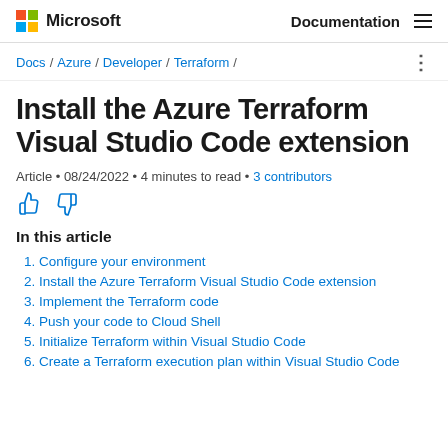Microsoft  Documentation
Docs / Azure / Developer / Terraform /
Install the Azure Terraform Visual Studio Code extension
Article • 08/24/2022 • 4 minutes to read • 3 contributors
In this article
1. Configure your environment
2. Install the Azure Terraform Visual Studio Code extension
3. Implement the Terraform code
4. Push your code to Cloud Shell
5. Initialize Terraform within Visual Studio Code
6. Create a Terraform execution plan within Visual Studio Code